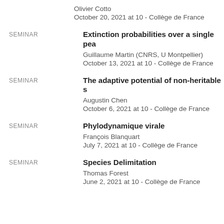Olivier Cotto
October 20, 2021 at 10 - Collège de France
SEMINAR — Extinction probabilities over a single pea…
Guillaume Martin (CNRS, U Montpellier)
October 13, 2021 at 10 - Collège de France
SEMINAR — The adaptive potential of non-heritable s…
Augustin Chen
October 6, 2021 at 10 - Collège de France
SEMINAR — Phylodynamique virale
François Blanquart
July 7, 2021 at 10 - Collège de France
SEMINAR — Species Delimitation
Thomas Forest
June 2, 2021 at 10 - Collège de France